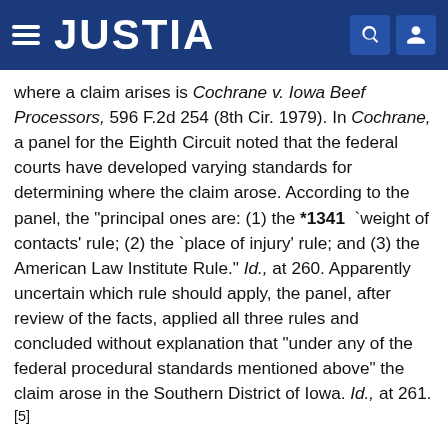JUSTIA
where a claim arises is Cochrane v. Iowa Beef Processors, 596 F.2d 254 (8th Cir. 1979). In Cochrane, a panel for the Eighth Circuit noted that the federal courts have developed varying standards for determining where the claim arose. According to the panel, the "principal ones are: (1) the *1341 `weight of contacts' rule; (2) the `place of injury' rule; and (3) the American Law Institute Rule." Id., at 260. Apparently uncertain which rule should apply, the panel, after review of the facts, applied all three rules and concluded without explanation that "under any of the federal procedural standards mentioned above" the claim arose in the Southern District of Iowa. Id., at 261.[5]
Because of the uncertainty surrounding the determination of where the claim arose, as illustrated by Cochrane v. Iowa Beef Processors, supra, this Court and other federal courts were indeed hopeful that the